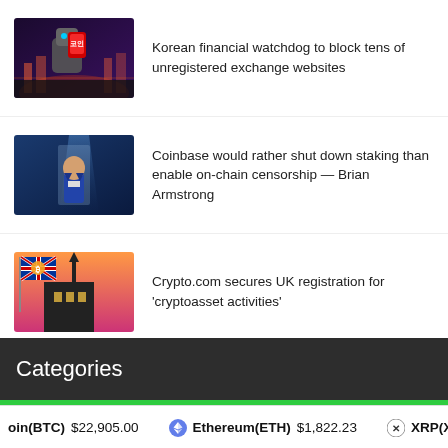[Figure (illustration): Robot holding a red phone/device with glowing city background]
Korean financial watchdog to block tens of unregistered exchange websites
[Figure (photo): Bald man in suit (Brian Armstrong) against blue background]
Coinbase would rather shut down staking than enable on-chain censorship — Brian Armstrong
[Figure (illustration): UK flag with cryptocurrency symbol on building/church at sunset]
Crypto.com secures UK registration for 'cryptoasset activities'
Categories
oin(BTC) $22,905.00  Ethereum(ETH) $1,822.23  XRP(XRP)